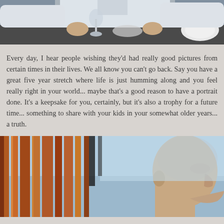[Figure (photo): Man in white shirt sitting at a dark table, holding a wine glass, with a plate visible on the right side. Upper body crop, restaurant setting.]
Every day, I hear people wishing they'd had really good pictures from certain times in their lives. We all know you can't go back. Say you have a great five year stretch where life is just humming along and you feel really right in your world... maybe that's a good reason to have a portrait done. It's a keepsake for you, certainly, but it's also a trophy for a future time... something to share with your kids in your somewhat older years... a truth.
[Figure (photo): Profile view of a bald middle-aged man looking to the right, with orange/brown vertical architectural elements (columns or slats) in the background, and a light blue sky visible.]